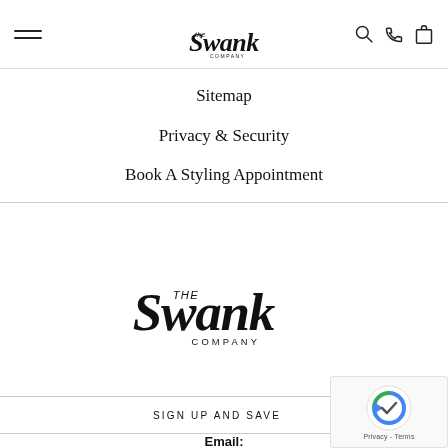[Figure (logo): The Swank Company logo in header, black script lettering]
Sitemap
Privacy & Security
Book A Styling Appointment
[Figure (logo): The Swank Company large center logo, black script lettering on white background]
SIGN UP AND SAVE
Email: